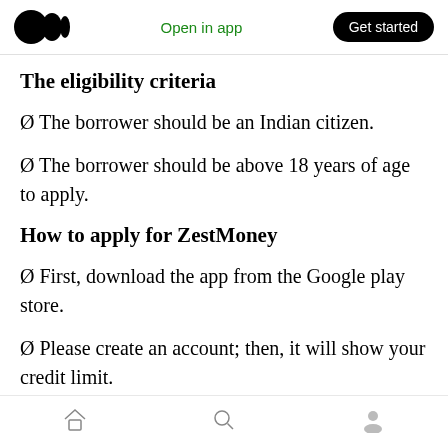Medium logo | Open in app | Get started
The eligibility criteria
Ø The borrower should be an Indian citizen.
Ø The borrower should be above 18 years of age to apply.
How to apply for ZestMoney
Ø First, download the app from the Google play store.
Ø Please create an account; then, it will show your credit limit.
Home | Search | Profile